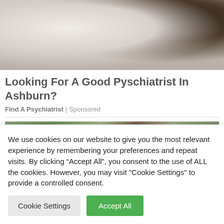[Figure (photo): A couple on a bed, woman sitting up with hands on head looking distressed, man hunched over with head down]
Looking For A Good Pyschiatrist In Ashburn?
Find A Psychiatrist | Sponsored
[Figure (photo): Outdoor scene with trees and what appears to be an animal, possibly a bear]
We use cookies on our website to give you the most relevant experience by remembering your preferences and repeat visits. By clicking “Accept All”, you consent to the use of ALL the cookies. However, you may visit "Cookie Settings" to provide a controlled consent.
Cookie Settings
Accept All